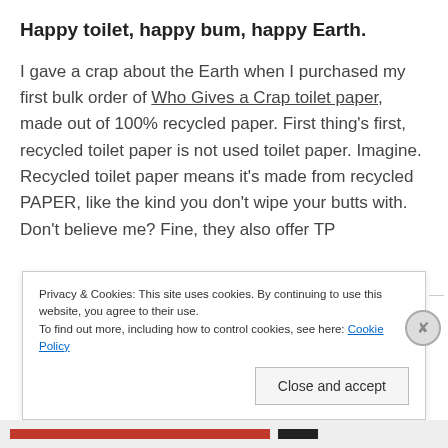Happy toilet, happy bum, happy Earth.
I gave a crap about the Earth when I purchased my first bulk order of Who Gives a Crap toilet paper, made out of 100% recycled paper. First thing's first, recycled toilet paper is not used toilet paper. Imagine. Recycled toilet paper means it's made from recycled PAPER, like the kind you don't wipe your butts with. Don't believe me? Fine, they also offer TP
Privacy & Cookies: This site uses cookies. By continuing to use this website, you agree to their use.
To find out more, including how to control cookies, see here: Cookie Policy
Close and accept